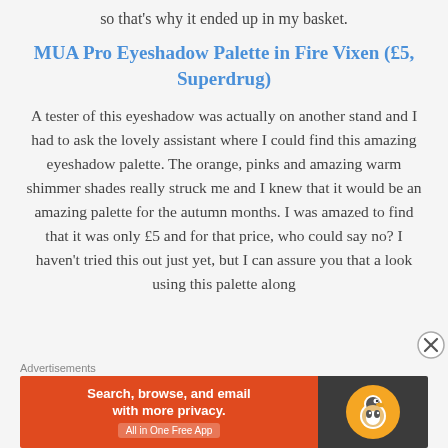so that's why it ended up in my basket.
MUA Pro Eyeshadow Palette in Fire Vixen (£5, Superdrug)
A tester of this eyeshadow was actually on another stand and I had to ask the lovely assistant where I could find this amazing eyeshadow palette. The orange, pinks and amazing warm shimmer shades really struck me and I knew that it would be an amazing palette for the autumn months. I was amazed to find that it was only £5 and for that price, who could say no? I haven't tried this out just yet, but I can assure you that a look using this palette along
Advertisements
[Figure (other): DuckDuckGo advertisement banner: orange section with text 'Search, browse, and email with more privacy. All in One Free App', dark section with DuckDuckGo duck logo.]